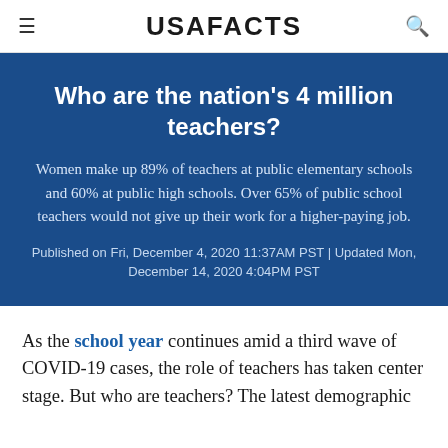USA FACTS
Who are the nation’s 4 million teachers?
Women make up 89% of teachers at public elementary schools and 60% at public high schools. Over 65% of public school teachers would not give up their work for a higher-paying job.
Published on Fri, December 4, 2020 11:37AM PST | Updated Mon, December 14, 2020 4:04PM PST
As the school year continues amid a third wave of COVID-19 cases, the role of teachers has taken center stage. But who are teachers? The latest demographic